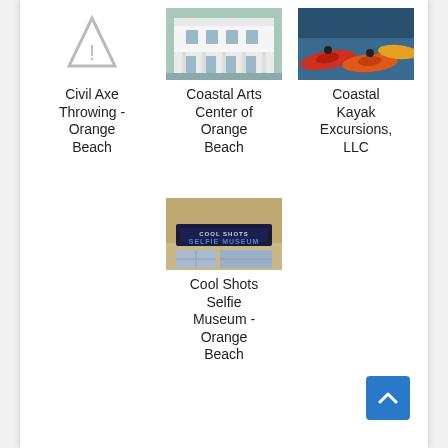[Figure (photo): Placeholder icon for Civil Axe Throwing - Orange Beach (no photo available, shows a warning/placeholder triangle icon)]
Civil Axe Throwing - Orange Beach
[Figure (photo): Photo of Coastal Arts Center of Orange Beach building exterior - white multi-story building]
Coastal Arts Center of Orange Beach
[Figure (photo): Photo of colorful kayaks on water for Coastal Kayak Excursions, LLC]
Coastal Kayak Excursions, LLC
[Figure (photo): Photo of Cool Shots Selfie Museum storefront sign in Orange Beach]
Cool Shots Selfie Museum - Orange Beach